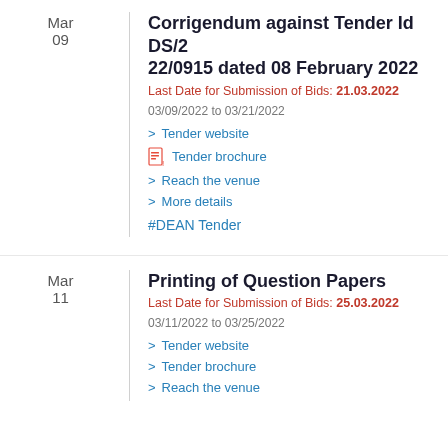Mar
09
Corrigendum against Tender Id DS/22/0915 dated 08 February 2022
Last Date for Submission of Bids: 21.03.2022
03/09/2022 to 03/21/2022
> Tender website
> Tender brochure
> Reach the venue
> More details
#DEAN Tender
Mar
11
Printing of Question Papers
Last Date for Submission of Bids: 25.03.2022
03/11/2022 to 03/25/2022
> Tender website
> Tender brochure
> Reach the venue